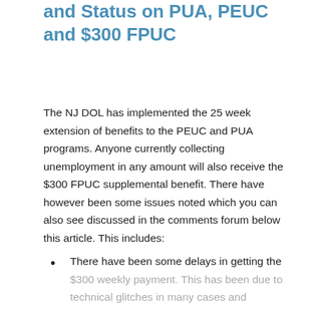and Status on PUA, PEUC and $300 FPUC
The NJ DOL has implemented the 25 week extension of benefits to the PEUC and PUA programs. Anyone currently collecting unemployment in any amount will also receive the $300 FPUC supplemental benefit. There have however been some issues noted which you can also see discussed in the comments forum below this article. This includes:
There have been some delays in getting the $300 weekly payment. This has been due to technical glitches in many cases and